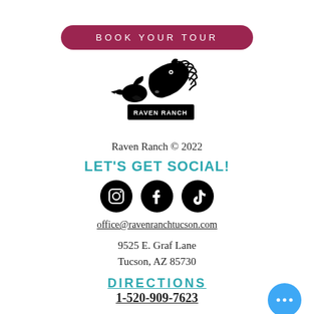BOOK YOUR TOUR
[Figure (logo): Raven Ranch logo showing a horse head with a raven bird, with text RAVEN RANCH]
Raven Ranch © 2022
LET'S GET SOCIAL!
[Figure (illustration): Social media icons: Instagram, Facebook, TikTok — black circles with white icons]
office@ravenranchtucson.com
9525 E. Graf Lane
Tucson, AZ 85730
DIRECTIONS
1-520-909-7623